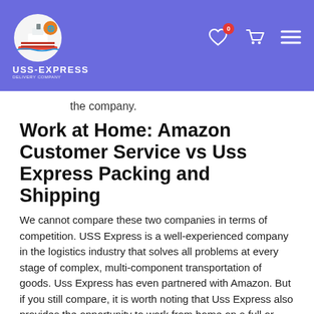USS-EXPRESS header with logo, heart icon (0 badge), cart icon, and hamburger menu
the company.
Work at Home: Amazon Customer Service vs Uss Express Packing and Shipping
We cannot compare these two companies in terms of competition. USS Express is a well-experienced company in the logistics industry that solves all problems at every stage of complex, multi-component transportation of goods. Uss Express has even partnered with Amazon. But if you still compare, it is worth noting that Uss Express also provides the opportunity to work from home on a full or part-time basis. Among the advantages of such cooperation, it is worth highlighting:
The ability to create your schedule. Amazon, although it positions itself to work from home